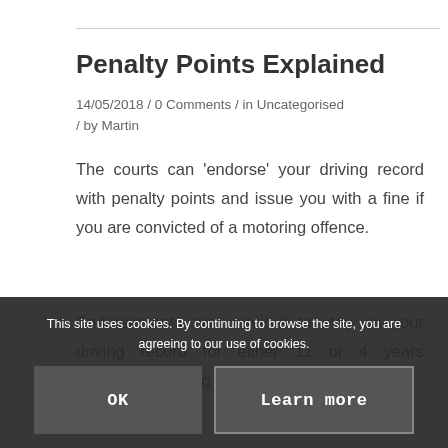Penalty Points Explained
14/05/2018 / 0 Comments / in Uncategorised / by Martin
The courts can ‘endorse’ your driving record with penalty points and issue you with a fine if you are convicted of a motoring offence.
Endorsements are required to stay on your driving record for either 11 or 4 years depending on the offence.
Read
This site uses cookies. By continuing to browse the site, you are agreeing to our use of cookies.